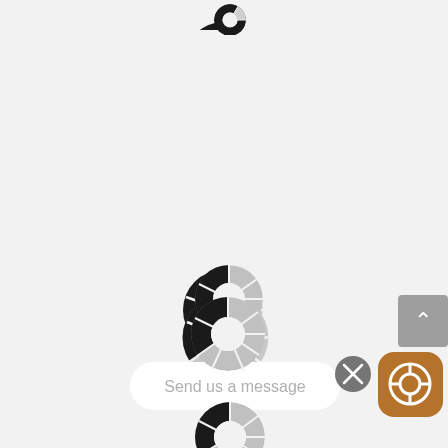[Figure (donut-chart): Partial donut/pie chart at top, mostly black with a small white wedge, cropped at top edge]
[Figure (donut-chart): Donut chart with segmented ring, mostly black segments on left/bottom and light gray segments on right/top, white center hole]
[Figure (donut-chart): Donut chart with segmented ring, mostly black segments on left/bottom and light gray segments on right/top, white center hole, slightly larger]
[Figure (screenshot): UI widget: a message input box with text 'Send us a message', a gray X close button, and an orange/brown rounded square help/support icon with a life preserver symbol]
[Figure (donut-chart): Partial donut/pie chart at bottom, cropped, black and gray segments visible]
[Figure (screenshot): Gray scroll-to-top button with white upward arrow chevron on right edge]